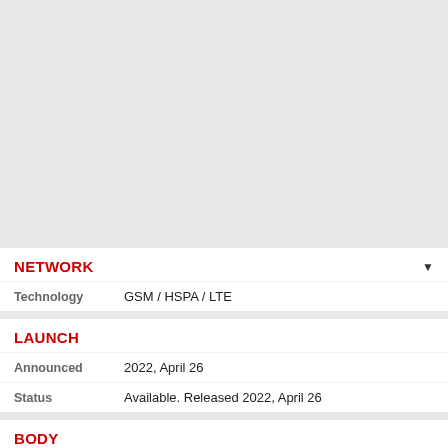[Figure (other): Gray placeholder area at top of page]
NETWORK
| Property | Value |
| --- | --- |
| Technology | GSM / HSPA / LTE |
LAUNCH
| Property | Value |
| --- | --- |
| Announced | 2022, April 26 |
| Status | Available. Released 2022, April 26 |
BODY